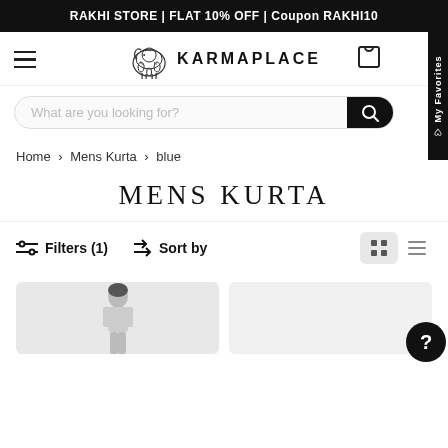RAKHI STORE | FLAT 10% OFF | Coupon RAKHI10
[Figure (screenshot): KarmaPlace logo with decorative elephant illustration and brand name KARMAPLACE]
[Figure (screenshot): Search bar with placeholder text 'What are you looking for?' and search button, plus My Favorites vertical tab]
Home > Mens Kurta > blue
MENS KURTA
Filters (1)   Sort by
[Figure (screenshot): Product grid showing two product cards with men's kurta images at bottom of page]